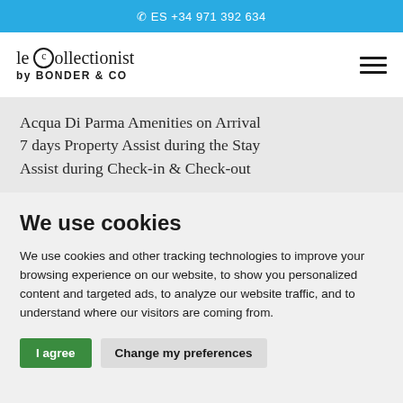ES +34 971 392 634
[Figure (logo): le collectionist by BONDER & CO logo with hamburger menu icon]
Acqua Di Parma Amenities on Arrival
7 days Property Assist during the Stay
Assist during Check-in & Check-out
We use cookies
We use cookies and other tracking technologies to improve your browsing experience on our website, to show you personalized content and targeted ads, to analyze our website traffic, and to understand where our visitors are coming from.
I agree | Change my preferences